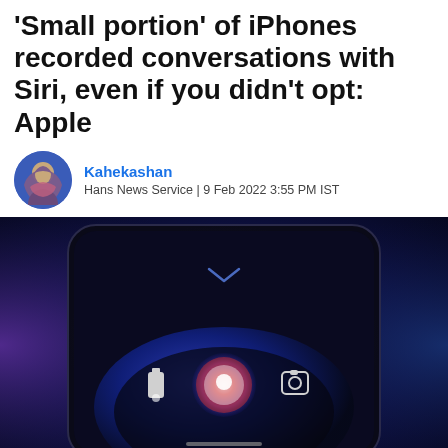'Small portion' of iPhones recorded conversations with Siri, even if you didn't opt: Apple
Kahekashan
Hans News Service | 9 Feb 2022 3:55 PM IST
[Figure (photo): iPhone displaying Siri interface on lock screen with glowing orb and dark background with purple/blue hues]
"Small portion" of iPhones recorded conversations with Siri, even if you didn't opt: Apple